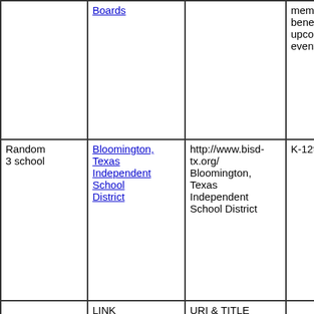|  | LINK | URI & TITLE |  |
| --- | --- | --- | --- |
|  | Boards |  | member benefits and upcoming events. |
| Random 3 school | Bloomington, Texas Independent School District | http://www.bisd-tx.org/ Bloomington, Texas Independent School District | K-12th Gr |
|  | LINK | URI & TITLE |  |
| Random 4 school | California State Summer School for the Arts | http://www.csssa.org/ California State Summ |  |